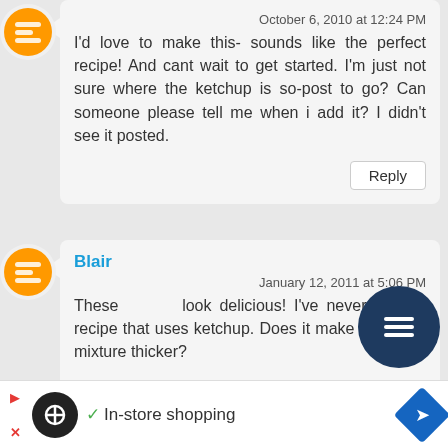October 6, 2010 at 12:24 PM
I'd love to make this- sounds like the perfect recipe! And cant wait to get started. I'm just not sure where the ketchup is so-post to go? Can someone please tell me when i add it? I didn't see it posted.
Reply
Blair
January 12, 2011 at 5:06 PM
These look delicious! I've never seen a recipe that uses ketchup. Does it make the stuff mixture thicker?

If you're at all interested in additional
In-store shopping